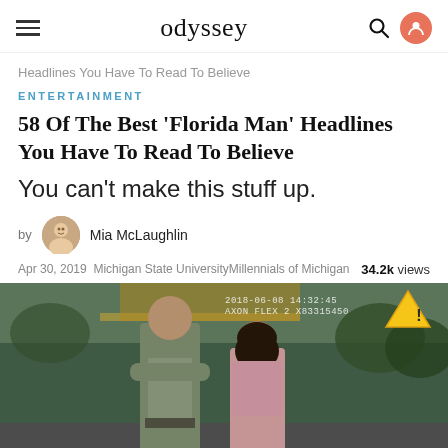odyssey
Headlines You Have To Read To Believe
ENTERTAINMENT
58 Of The Best 'Florida Man' Headlines You Have To Read To Believe
You can't make this stuff up.
by Mia McLaughlin
Apr 30, 2019  Michigan State UniversityMillennials of Michigan   34.2k views
[Figure (photo): Body camera footage showing a law enforcement officer in tan uniform with arms crossed facing a woman in a pink top, at what appears to be a gas station. Timestamp overlay reads 2018-06-08, AXON FLEX 2, with a yellow warning triangle icon in top right.]